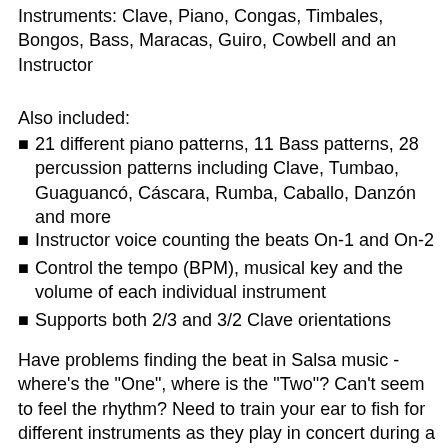Instruments: Clave, Piano, Congas, Timbales, Bongos, Bass, Maracas, Guiro, Cowbell and an Instructor
Also included:
21 different piano patterns, 11 Bass patterns, 28 percussion patterns including Clave, Tumbao, Guaguancó, Cáscara, Rumba, Caballo, Danzón and more
Instructor voice counting the beats On-1 and On-2
Control the tempo (BPM), musical key and the volume of each individual instrument
Supports both 2/3 and 3/2 Clave orientations
Have problems finding the beat in Salsa music - where's the "One", where is the "Two"? Can't seem to feel the rhythm? Need to train your ear to fish for different instruments as they play in concert during a Salsa song? This app will help you to develop better timing, learn about different key instruments involved in Salsa compositions, and improve your ability to execute your dance patterns better while developing concepts of musicality. This app is recommended for beginner, intermediate or